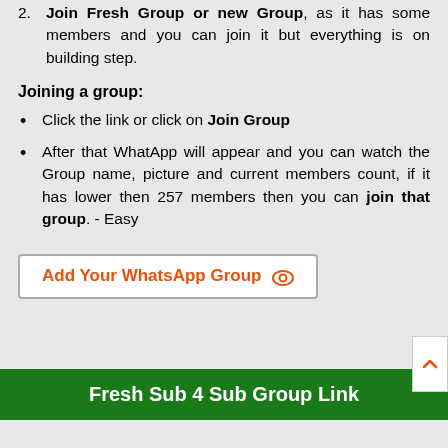2. Join Fresh Group or new Group, as it has some members and you can join it but everything is on building step.
Joining a group:
Click the link or click on Join Group
After that WhatApp will appear and you can watch the Group name, picture and current members count, if it has lower then 257 members then you can join that group. - Easy
Add Your WhatsApp Group
Fresh Sub 4 Sub Group Link